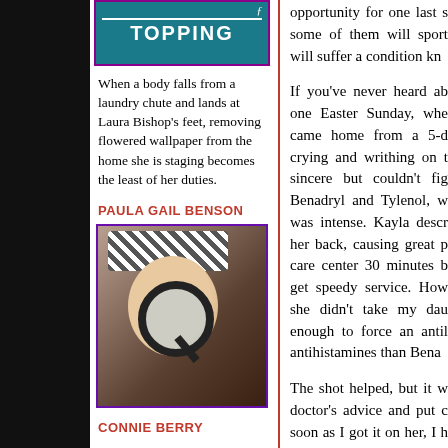[Figure (illustration): Book cover with teal background showing script text and bold title 'TOPPING' with purple border]
When a body falls from a laundry chute and lands at Laura Bishop's feet, removing flowered wallpaper from the home she is staging becomes the least of her duties.
PAULA GAIL BENSON
[Figure (photo): Photo of a woman holding a magnifying glass up to her eye, wearing a striped hat, dark background]
CONNIE BERRY
opportunity for one last s some of them will sport will suffer a condition kn
If you've never heard ab one Easter Sunday, whe came home from a 5-d crying and writhing on t sincere but couldn't fig Benadryl and Tylenol, w was intense. Kayla descr her back, causing great p care center 30 minutes b get speedy service. How she didn't take my dau enough to force an antil antihistamines than Bena
The shot helped, but it w doctor's advice and put c soon as I got it on her, I h her hurt worse. By that